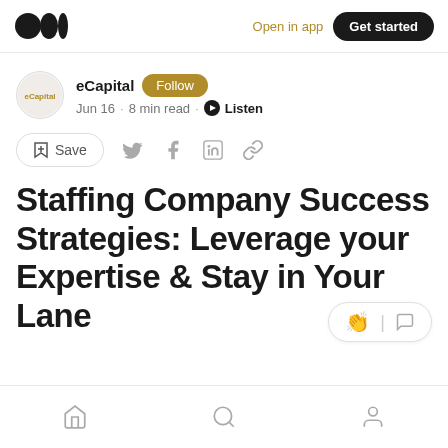Medium app navigation bar with logo, Open in app link, and Get started button
eCapital · Follow · Jun 16 · 8 min read · Listen
Save (action bar with social share icons)
Staffing Company Success Strategies: Leverage your Expertise & Stay in Your Lane